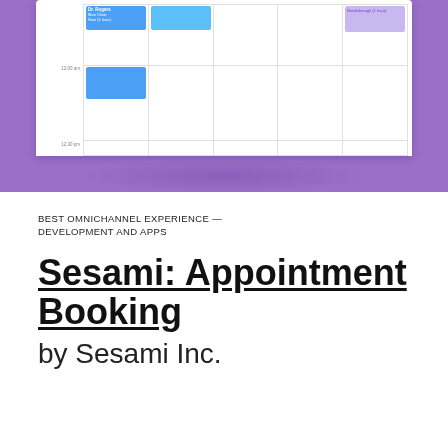[Figure (screenshot): Screenshot of a calendar/appointment booking interface showing a weekly view with colored appointment blocks in blue and purple, displayed on a white card over a purple background.]
BEST OMNICHANNEL EXPERIENCE — DEVELOPMENT AND APPS
Sesami: Appointment Booking
by Sesami Inc.